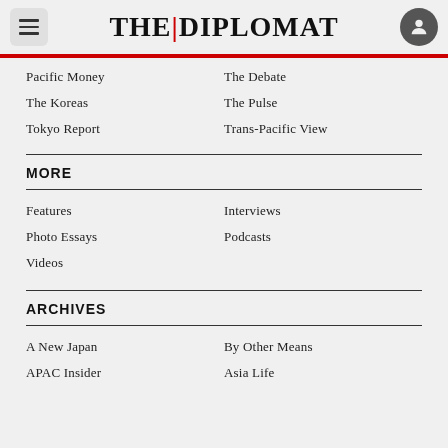THE|DIPLOMAT
Pacific Money
The Debate
The Koreas
The Pulse
Tokyo Report
Trans-Pacific View
MORE
Features
Interviews
Photo Essays
Podcasts
Videos
ARCHIVES
A New Japan
By Other Means
APAC Insider
Asia Life